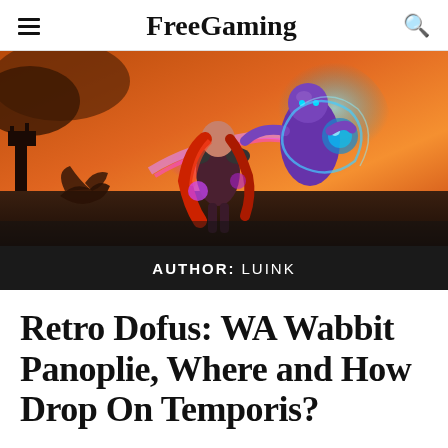FreeGaming
[Figure (illustration): Fantasy game artwork showing a red-haired female warrior and a purple-skinned male sorcerer with blue magical energy, set against a fiery orange sky with a dragon silhouette in the background.]
AUTHOR: LUINK
Retro Dofus: WA Wabbit Panoplie, Where and How Drop On Temporis?